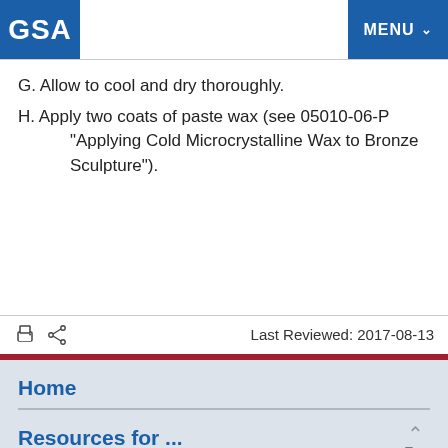GSA | MENU
G. Allow to cool and dry thoroughly.
H. Apply two coats of paste wax (see 05010-06-P "Applying Cold Microcrystalline Wax to Bronze Sculpture").
Last Reviewed: 2017-08-13
Home
Resources for ...
Americans with Disabilities